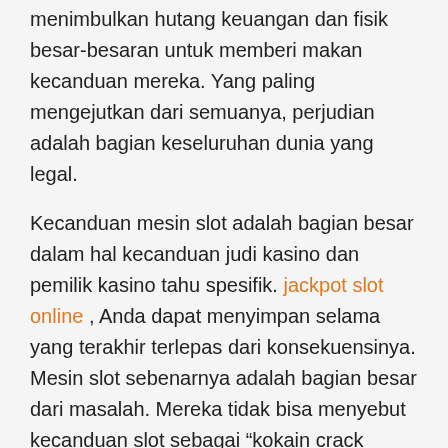menimbulkan hutang keuangan dan fisik besar-besaran untuk memberi makan kecanduan mereka. Yang paling mengejutkan dari semuanya, perjudian adalah bagian keseluruhan dunia yang legal.
Kecanduan mesin slot adalah bagian besar dalam hal kecanduan judi kasino dan pemilik kasino tahu spesifik. jackpot slot online , Anda dapat menyimpan selama yang terakhir terlepas dari konsekuensinya. Mesin slot sebenarnya adalah bagian besar dari masalah. Mereka tidak bisa menyebut kecanduan slot sebagai “kokain crack kecanduan judi” untuk apa-apa.
Pukulan slot gaya Stapler mungkin tidak begitu mengesankan seperti gaya meja-atas, tetapi bisnis kecil dengan tuntutan cetak moderat, umumnya sering memadai. Ada berbagai model yang tersedia di dalam stapler strike.